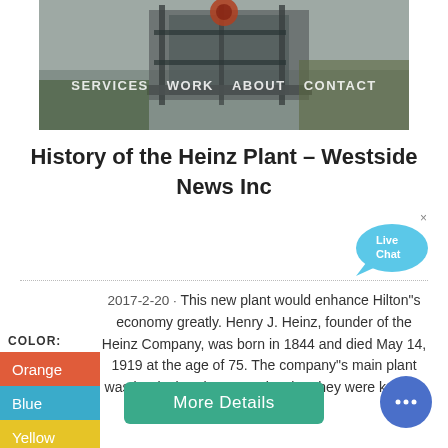[Figure (photo): Construction site photo showing industrial equipment and scaffolding under an overcast sky, used as website hero image]
SERVICES   WORK   ABOUT   CONTACT
History of the Heinz Plant – Westside News Inc
[Figure (other): Live Chat bubble icon in cyan/blue]
2017-2-20 · This new plant would enhance Hilton"s economy greatly. Henry J. Heinz, founder of the Heinz Company, was born in 1844 and died May 14, 1919 at the age of 75. The company"s main plant was in Pittsburgh, Pennsylvania. They were known, and ...
COLOR:
Orange
Blue
Yellow
More Details